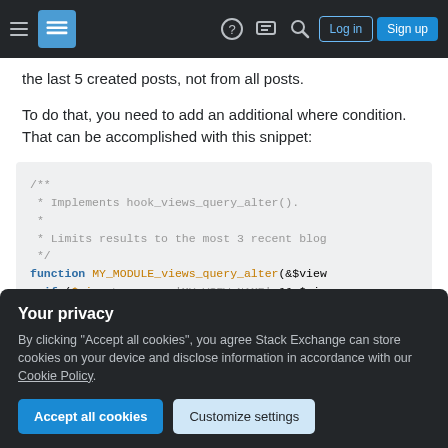Stack Exchange navigation bar with hamburger menu, logo, help, chat, search icons, Log in and Sign up buttons
the last 5 created posts, not from all posts.
To do that, you need to add an additional where condition. That can be accomplished with this snippet:
[Figure (screenshot): Code block showing PHP code: /** * Implements hook_views_query_alter(). * * Limits results to the most 3 recent blog */ function MY_MODULE_views_query_alter(&$view if ($view->name == 'MY_VIEW_NAME' && $vie]
Your privacy
By clicking "Accept all cookies", you agree Stack Exchange can store cookies on your device and disclose information in accordance with our Cookie Policy.
Accept all cookies   Customize settings